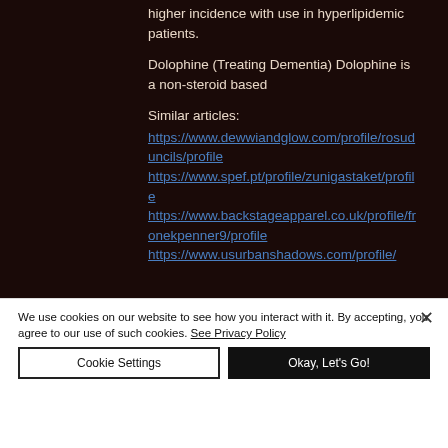higher incidence with use in hyperlipidemic patients.
Dolophine (Treating Dementia) Dolophine is a non-steroid based
Similar articles:
https://www.dewwiandglow.com/profile/rosuduncils/profile https://www.spef.pt/profile/zunigastaket/profile https://www.backstageapparel.co.uk/profile/fronekpenner9/profile https://www.usurbanshadows.com/profile/
We use cookies on our website to see how you interact with it. By accepting, you agree to our use of such cookies. See Privacy Policy
Cookie Settings
Okay, Let's Go!